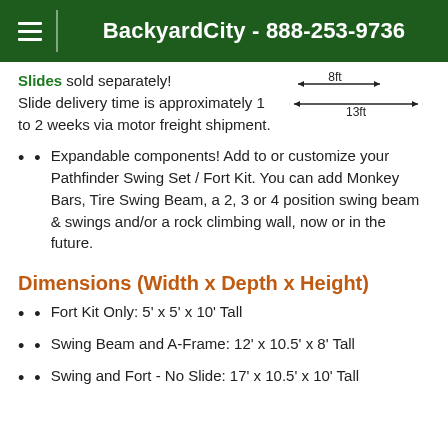BackyardCity - 888-253-9736
Slides sold separately! Slide delivery time is approximately 1 to 2 weeks via motor freight shipment.
[Figure (schematic): Dimension diagram showing 8ft and 13ft arrows indicating width measurements]
Expandable components! Add to or customize your Pathfinder Swing Set / Fort Kit. You can add Monkey Bars, Tire Swing Beam, a 2, 3 or 4 position swing beam & swings and/or a rock climbing wall, now or in the future.
Dimensions (Width x Depth x Height)
Fort Kit Only: 5' x 5' x 10' Tall
Swing Beam and A-Frame: 12' x 10.5' x 8' Tall
Swing and Fort - No Slide: 17' x 10.5' x 10' Tall